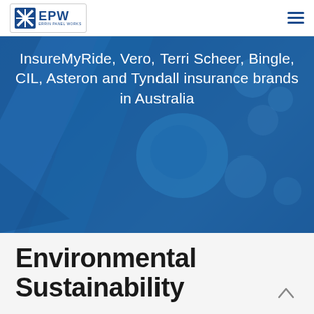[Figure (logo): EPW (Errin Panel Works) logo — blue X-shaped icon with EPW text and 'ERRIN PANEL WORKS' subtitle]
[Figure (photo): Blue-tinted hero background photo showing automotive panel/spray painting equipment with bokeh circles]
InsureMyRide, Vero, Terri Scheer, Bingle, CIL, Asteron and Tyndall insurance brands in Australia
Environmental Sustainability